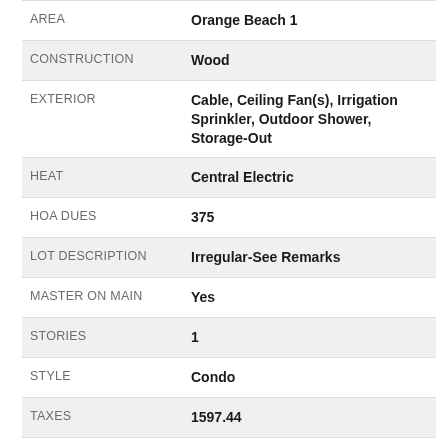| Field | Value |
| --- | --- |
| AREA | Orange Beach 1 |
| CONSTRUCTION | Wood |
| EXTERIOR | Cable, Ceiling Fan(s), Irrigation Sprinkler, Outdoor Shower, Storage-Out |
| HEAT | Central Electric |
| HOA DUES | 375 |
| LOT DESCRIPTION | Irregular-See Remarks |
| MASTER ON MAIN | Yes |
| STORIES | 1 |
| STYLE | Condo |
| TAXES | 1597.44 |
| UTILITIES | Baldwin EMC |
| VIEW DESCRIPTION | None/Not Applicable |
| WATERFRONT | Bayou Accs (Wlk &amp;lt;=1/4 |